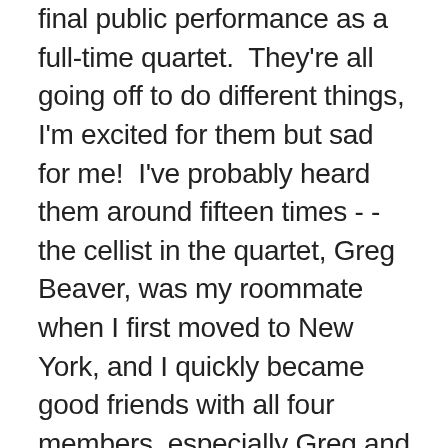final public performance as a full-time quartet.  They're all going off to do different things, I'm excited for them but sad for me!  I've probably heard them around fifteen times - - the cellist in the quartet, Greg Beaver, was my roommate when I first moved to New York, and I quickly became good friends with all four members, especially Greg and his wife Hyeyung, the second violinist.  I described them years ago as "the apex of human achievement," and I thought I was exaggerating, but really, I wasn't!  They have a supreme balance of passion and precision, the collaboration between the four of them is inspiring, and best of all, they communicate the music in a deep